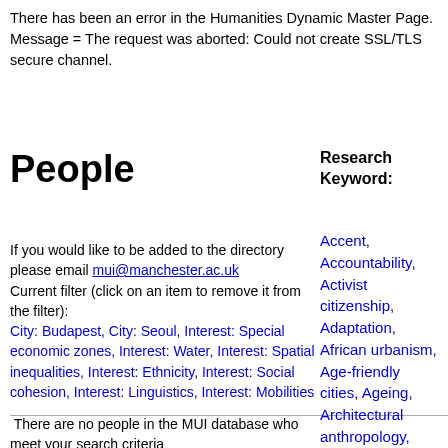There has been an error in the Humanities Dynamic Master Page. Message = The request was aborted: Could not create SSL/TLS secure channel.
People
Research Keyword:
If you would like to be added to the directory please email mui@manchester.ac.uk
Current filter (click on an item to remove it from the filter):
City: Budapest, City: Seoul, Interest: Special economic zones, Interest: Water, Interest: Spatial inequalities, Interest: Ethnicity, Interest: Social cohesion, Interest: Linguistics, Interest: Mobilities
There are no people in the MUI database who meet your search criteria
Accent, Accountability, Activist citizenship, Adaptation, African urbanism, Age-friendly cities, Ageing, Architectural anthropology, Architectural drawing, Architectural ethnography, Architecture, Art, Aspiration, Atmosphere, Austerity,